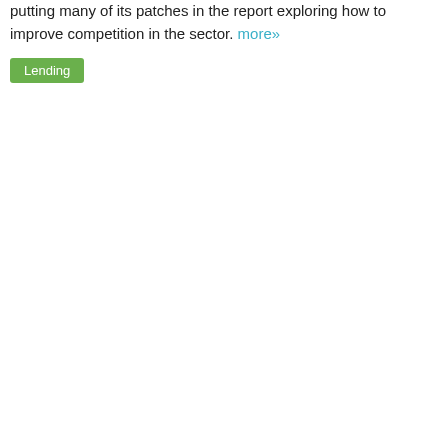putting many of its patches in the report exploring how to improve competition in the sector. more»
Lending